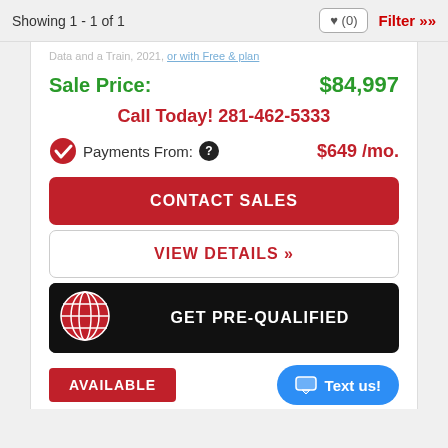Showing 1 - 1 of 1
Sale Price: $84,997
Call Today! 281-462-5333
Payments From: $649 /mo.
CONTACT SALES
VIEW DETAILS »
GET PRE-QUALIFIED
AVAILABLE
Text us!